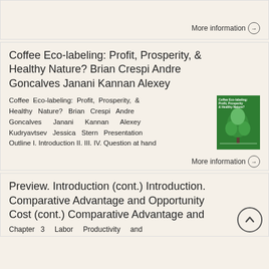More information →
Coffee Eco-labeling: Profit, Prosperity, & Healthy Nature? Brian Crespi Andre Goncalves Janani Kannan Alexey
Coffee Eco-labeling: Profit, Prosperity, & Healthy Nature? Brian Crespi Andre Goncalves Janani Kannan Alexey Kudryavtsev Jessica Stern Presentation Outline I. Introduction II. III. IV. Question at hand
[Figure (illustration): Green book cover for Coffee Eco-labeling: Profit, Prosperity & Healthy Nature? with a tree illustration]
More information →
Preview. Introduction (cont.) Introduction. Comparative Advantage and Opportunity Cost (cont.) Comparative Advantage and
Chapter 3 Labor Productivity and